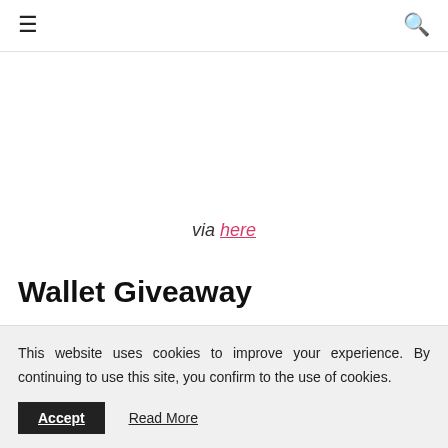≡ [hamburger menu] [search icon]
via here
Wallet Giveaway
This website uses cookies to improve your experience. By continuing to use this site, you confirm to the use of cookies.
Accept   Read More